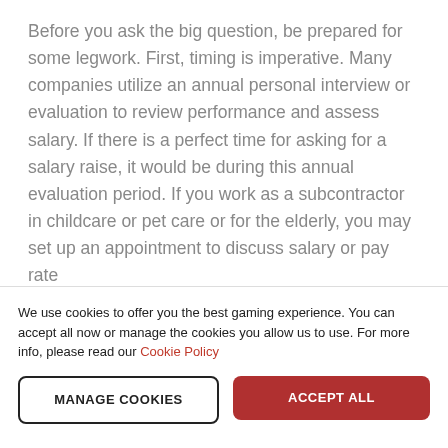Before you ask the big question, be prepared for some legwork. First, timing is imperative. Many companies utilize an annual personal interview or evaluation to review performance and assess salary. If there is a perfect time for asking for a salary raise, it would be during this annual evaluation period. If you work as a subcontractor in childcare or pet care or for the elderly, you may set up an appointment to discuss salary or pay rate
[Read more...]
We use cookies to offer you the best gaming experience. You can accept all now or manage the cookies you allow us to use. For more info, please read our Cookie Policy